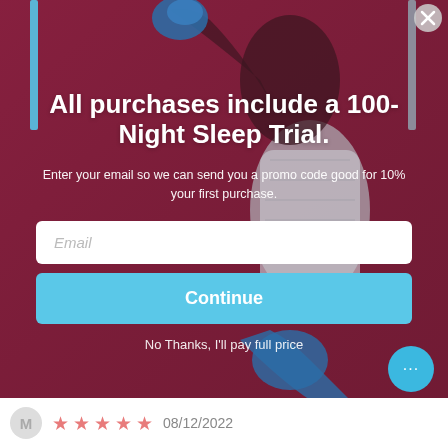[Figure (photo): Woman in athletic wear holding a pillow/boxing gloves against a dark maroon/burgundy background, promotional popup image]
All purchases include a 100-Night Sleep Trial.
Enter your email so we can send you a promo code good for 10% your first purchase.
Email
Continue
No Thanks, I'll pay full price
08/12/2022